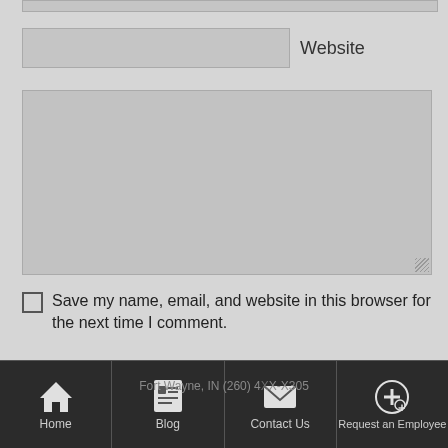[Figure (screenshot): Partial input field at top, cut off]
Website
[Figure (screenshot): Large textarea comment input box]
Save my name, email, and website in this browser for the next time I comment.
Publish
Sentech Services
Serving Northern Indiana
Home | Blog | Contact Us | Request an Employee